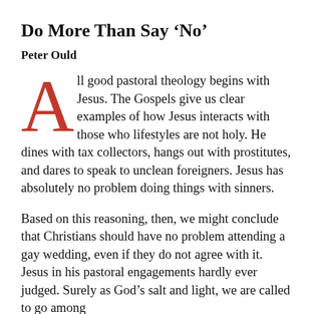Do More Than Say ‘No’
Peter Ould
All good pastoral theology begins with Jesus. The Gospels give us clear examples of how Jesus interacts with those who lifestyles are not holy. He dines with tax collectors, hangs out with prostitutes, and dares to speak to unclean foreigners. Jesus has absolutely no problem doing things with sinners.
Based on this reasoning, then, we might conclude that Christians should have no problem attending a gay wedding, even if they do not agree with it. Jesus in his pastoral engagements hardly ever judged. Surely as God’s salt and light, we are called to go among